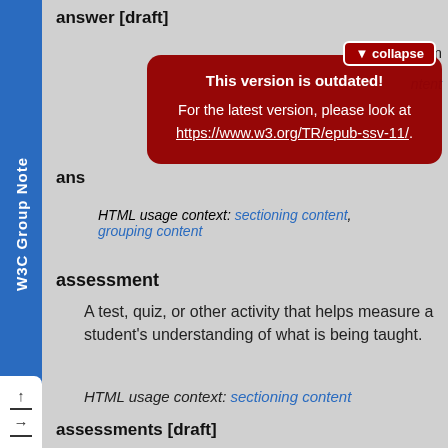W3C Group Note
answer [draft]
[Figure (screenshot): Dark red modal overlay warning: 'This version is outdated! For the latest version, please look at https://www.w3.org/TR/epub-ssv-11/.' with a collapse button in the top right corner.]
HTML usage context: sectioning content, grouping content
assessment
A test, quiz, or other activity that helps measure a student's understanding of what is being taught.
HTML usage context: sectioning content
assessments [draft]